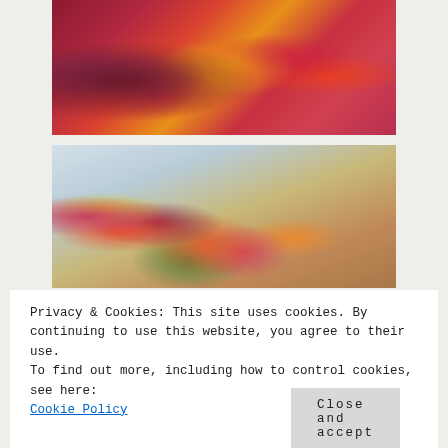[Figure (photo): Top-down view of a wedding aisle covered in red, pink, orange, and yellow rose petals, with white chairs and floral arrangements on either side]
[Figure (photo): Close-up of vibrant wedding ceremony floral arrangement in a dark urn vase, featuring pink, orange, red roses and yellow tulips with greenery, white chairs and more floral arrangements in the background]
Privacy & Cookies: This site uses cookies. By continuing to use this website, you agree to their use.
To find out more, including how to control cookies, see here:
Cookie Policy
Close and accept
[Figure (photo): Bottom strip of wedding ceremony guests seated, partially visible]